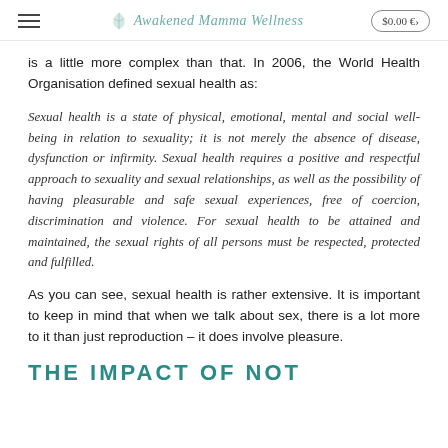≡  Awakened Mamma Wellness  $0.00 🛒
is a little more complex than that. In 2006, the World Health Organisation defined sexual health as:
Sexual health is a state of physical, emotional, mental and social well-being in relation to sexuality; it is not merely the absence of disease, dysfunction or infirmity. Sexual health requires a positive and respectful approach to sexuality and sexual relationships, as well as the possibility of having pleasurable and safe sexual experiences, free of coercion, discrimination and violence. For sexual health to be attained and maintained, the sexual rights of all persons must be respected, protected and fulfilled.
As you can see, sexual health is rather extensive. It is important to keep in mind that when we talk about sex, there is a lot more to it than just reproduction – it does involve pleasure.
THE IMPACT OF NOT